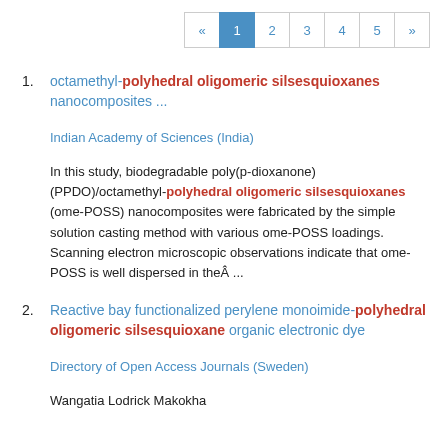« 1 2 3 4 5 »
octamethyl-polyhedral oligomeric silsesquioxanes nanocomposites ...
Indian Academy of Sciences (India)
In this study, biodegradable poly(p-dioxanone) (PPDO)/octamethyl-polyhedral oligomeric silsesquioxanes (ome-POSS) nanocomposites were fabricated by the simple solution casting method with various ome-POSS loadings. Scanning electron microscopic observations indicate that ome-POSS is well dispersed in theÂ ...
Reactive bay functionalized perylene monoimide-polyhedral oligomeric silsesquioxane organic electronic dye
Directory of Open Access Journals (Sweden)
Wangatia Lodrick Makokha